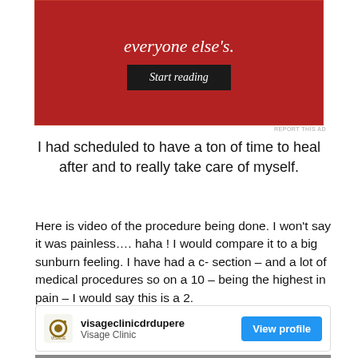[Figure (screenshot): Red advertisement banner with italic text 'everyone else's.' and a dark 'Start reading' button]
REPORT THIS AD
I had scheduled to have a ton of time to heal after and to really take care of myself.
Here is video of the procedure being done. I won't say it was painless…. haha ! I would compare it to a big sunburn feeling. I have had a c- section – and a lot of medical procedures so on a 10 – being the highest in pain – I would say this is a 2.
[Figure (screenshot): Instagram profile card for visageclinicdrdupere / Visage Clinic with a blue 'View profile' button]